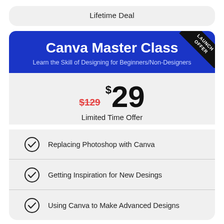Lifetime Deal
Canva Master Class
Learn the Skill of Designing for Beginners/Non-Designers
LAUNCH OFFER
$129  $29  Limited Time Offer
Replacing Photoshop with Canva
Getting Inspiration for New Desings
Using Canva to Make Advanced Designs